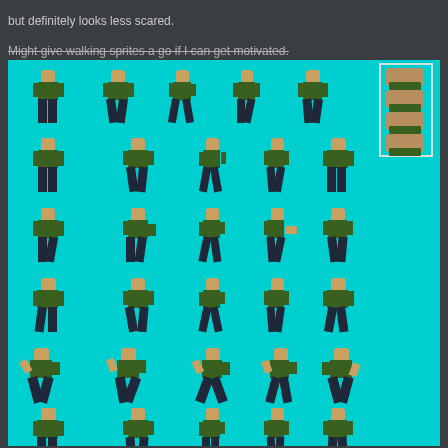but definitely looks less scared.
Might give walking sprites a go if I can get motivated. [strikethrough]
*EDIT
[Figure (illustration): Pixel art sprite sheet on cyan background showing a soldier/military character in green shirt and dark pants in various walking, standing, and attacking poses arranged in 6 rows of 5 sprites each, with a small portrait strip in the top-right corner showing 4 face/head closeups.]